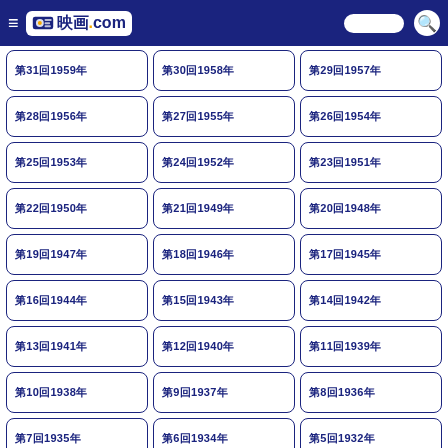映画.com
第31回1959年
第30回1958年
第29回1957年
第28回1956年
第27回1955年
第26回1954年
第25回1953年
第24回1952年
第23回1951年
第22回1950年
第21回1949年
第20回1948年
第19回1947年
第18回1946年
第17回1945年
第16回1944年
第15回1943年
第14回1942年
第13回1941年
第12回1940年
第11回1939年
第10回1938年
第9回1937年
第8回1936年
第7回1935年
第6回1934年
第5回1932年